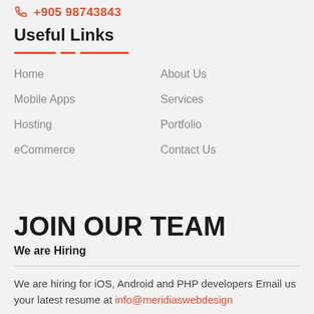+905 98743843
Useful Links
Home
About Us
Mobile Apps
Services
Hosting
Portfolio
eCommerce
Contact Us
JOIN OUR TEAM
We are Hiring
We are hiring for iOS, Android and PHP developers Email us your latest resume at info@meridiaswebdesign...